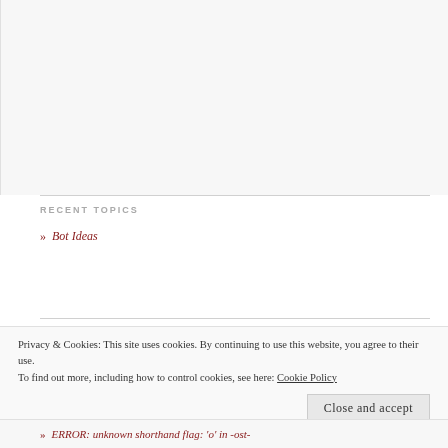RECENT TOPICS
» Bot Ideas
Privacy & Cookies: This site uses cookies. By continuing to use this website, you agree to their use.
To find out more, including how to control cookies, see here: Cookie Policy
Close and accept
» ERROR: unknown shorthand flag: 'o' in -ost-